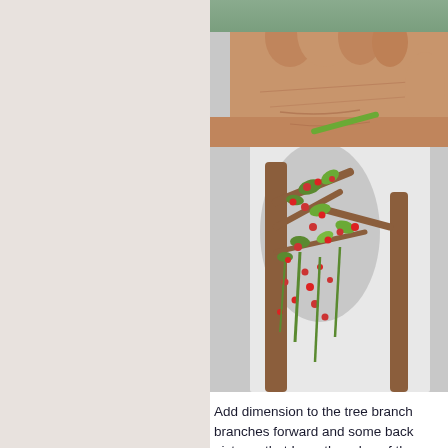[Figure (photo): Hands working on a 3D paper craft tree with pink flowers/berries and green leaves, bending branches of a decorative layered paper art piece with brown tree trunks and colorful foliage.]
Add dimension to the tree branch… branches forward and some back… pictures that I use the edge of the… while bending them. Trees, foliag…